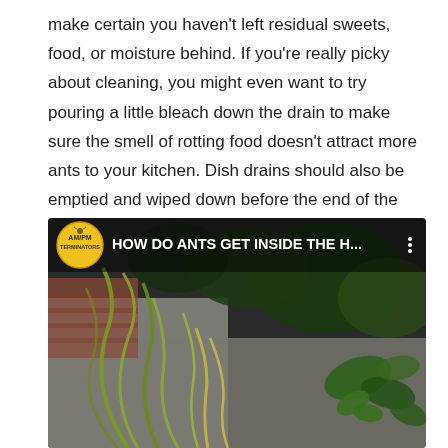make certain you haven't left residual sweets, food, or moisture behind. If you're really picky about cleaning, you might even want to try pouring a little bleach down the drain to make sure the smell of rotting food doesn't attract more ants to your kitchen. Dish drains should also be emptied and wiped down before the end of the day.
[Figure (screenshot): YouTube video thumbnail for 'HOW DO ANTS GET INSIDE THE H...' by AM/PM Terminators, showing plants and grass growing near a concrete wall/pavement, with a circular logo in the top-left corner.]